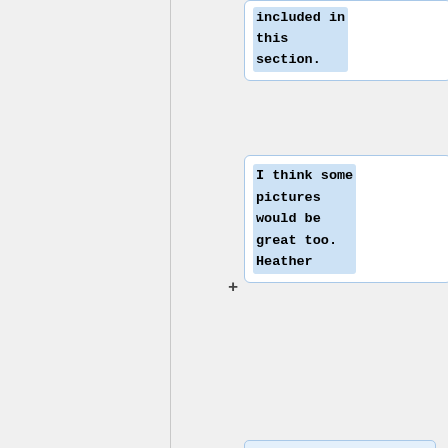included in this section.
I think some pictures would be great too. Heather
Maybe this could use some pictures? Maybe the organisms u talked about, or the rhizobia. Just
Maybe this could use some pictures? Maybe the organisms u talked about, or the rhizobia. Just